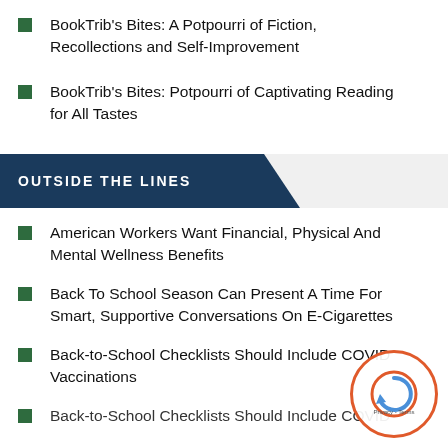BookTrib's Bites: A Potpourri of Fiction, Recollections and Self-Improvement
BookTrib's Bites: Potpourri of Captivating Reading for All Tastes
OUTSIDE THE LINES
American Workers Want Financial, Physical And Mental Wellness Benefits
Back To School Season Can Present A Time For Smart, Supportive Conversations On E-Cigarettes
Back-to-School Checklists Should Include COVID Vaccinations
Back-to-School Checklists Should Include COVID